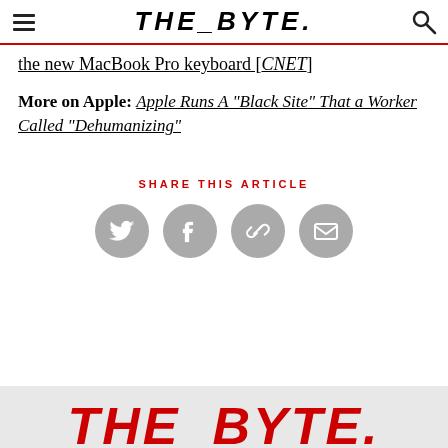THE_BYTE.
the new MacBook Pro keyboard [CNET]
More on Apple: Apple Runs A "Black Site" That a Worker Called “Dehumanizing”
SHARE THIS ARTICLE
[Figure (infographic): Four circular grey social share buttons: Twitter, Facebook, Link/Chain, Email]
[Figure (logo): THE_BYTE. logo text in red at bottom of page]